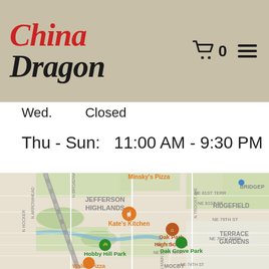China Dragon — 0 (cart icon, menu icon)
Wed.    Closed
Thu - Sun:    11:00 AM - 9:30 PM
[Figure (map): Google Maps view showing Jefferson Highlands neighborhood in Kansas City. Map includes labels for Minsky's Pizza, Kate's Kitchen, Oak Park High School, Hobby Hill Park, Oak Grove Park, Waldo Pizza, Ridgefield, Terrace Gardens, Bridgep(ort). Streets labeled include N Broadway St, N Troost Ave, NE 81st Terr, NE 81st St, NE 79th St, NE 76th Terr, NE 76th St, NE 75th Terr, NE 74th St, N Main St, N Arrowhead, N Hocker. Railroad tracks run diagonally.]